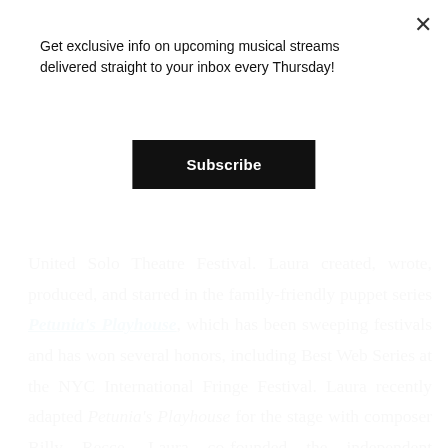Get exclusive info on upcoming musical streams delivered straight to your inbox every Thursday!
Subscribe
United Solo Theatre Festival. Laura created, wrote, produced, and starred in the family-friendly puppet series Petunia's Playhouse, which has been sweeping festivals and has won several honors, including Best Web Series at the NYC International Fringe Festival. Laura recently adapted Petunia's Playhouse for the stage with composer Billy Recce. Laura co-founded the independent production company Party Claw Productions with NYC Artist Ashley Kristeen Vega, and their inaugural film Wide